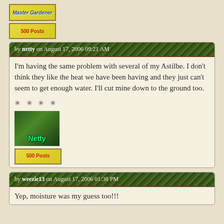[Figure (other): Master Gardener badge and 500 Posts badge at top of page]
by netty on August 17, 2006 09:21 AM
I'm having the same problem with several of my Astilbe. I don't think they like the heat we have been having and they just can't seem to get enough water. I'll cut mine down to the ground too.
* * * *
[Figure (photo): Netty avatar showing garden with text Netty overlay]
[Figure (other): 500 Posts badge]
by weezie13 on August 17, 2006 01:38 PM
Yep, moisture was my guess too!!!